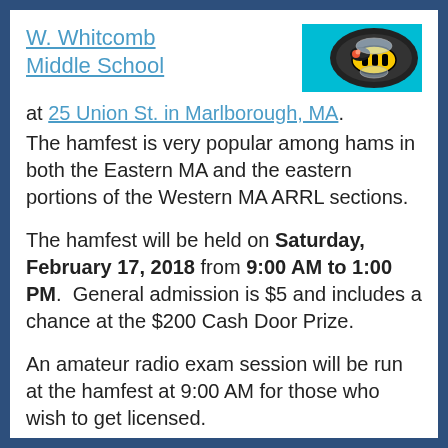W. Whitcomb Middle School at 25 Union St. in Marlborough, MA.
The hamfest is very popular among hams in both the Eastern MA and the eastern portions of the Western MA ARRL sections.
The hamfest will be held on Saturday, February 17, 2018 from 9:00 AM to 1:00 PM. General admission is $5 and includes a chance at the $200 Cash Door Prize.
An amateur radio exam session will be run at the hamfest at 9:00 AM for those who wish to get licensed.